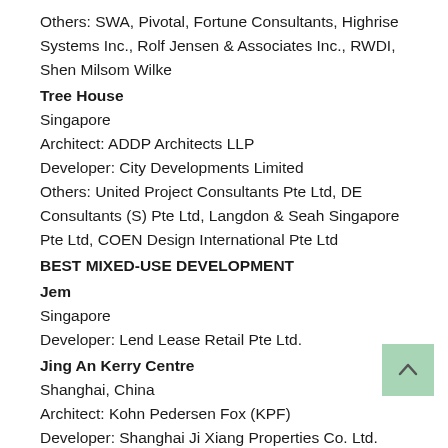Others: SWA, Pivotal, Fortune Consultants, Highrise Systems Inc., Rolf Jensen & Associates Inc., RWDI, Shen Milsom Wilke
Tree House
Singapore
Architect: ADDP Architects LLP
Developer: City Developments Limited
Others: United Project Consultants Pte Ltd, DE Consultants (S) Pte Ltd, Langdon & Seah Singapore Pte Ltd, COEN Design International Pte Ltd
BEST MIXED-USE DEVELOPMENT
Jem
Singapore
Developer: Lend Lease Retail Pte Ltd.
Jing An Kerry Centre
Shanghai, China
Architect: Kohn Pedersen Fox (KPF)
Developer: Shanghai Ji Xiang Properties Co. Ltd.
L'Avenue Shanghai
Shanghai, China
Architect: Leigh & Orange Ltd.